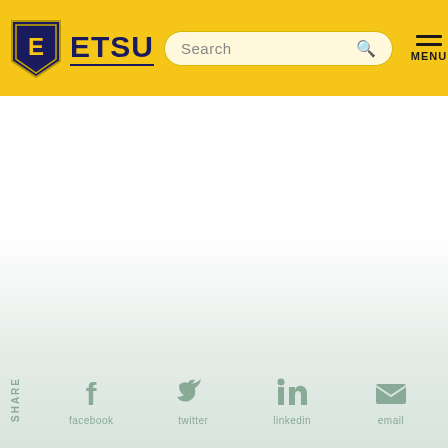[Figure (logo): ETSU (East Tennessee State University) logo with gold shield and blue E, followed by ETSU text in navy blue]
[Figure (screenshot): Search bar with placeholder text 'Search' and magnifying glass icon]
[Figure (infographic): Hamburger menu icon with three horizontal lines and MENU label below]
[Figure (infographic): Share bar at bottom with social icons for facebook, twitter, linkedin, and email, with vertical Share label on left]